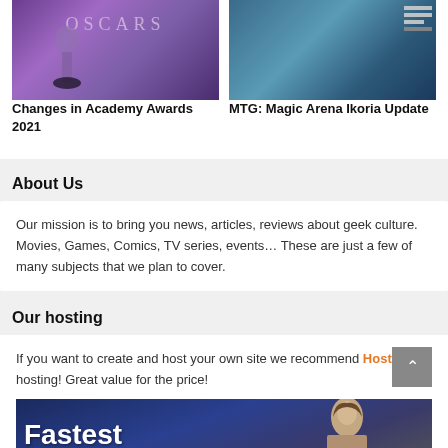[Figure (photo): Oscars promotional image with purple/violet gradient background and stylized Oscar figurine silhouette with OSCARS text]
Changes in Academy Awards 2021
[Figure (screenshot): MTG Magic Arena Ikoria game screenshot with dark fantasy art and hamburger menu icon in top right]
MTG: Magic Arena Ikoria Update
About Us
Our mission is to bring you news, articles, reviews about geek culture. Movies, Games, Comics, TV series, events… These are just a few of many subjects that we plan to cover.
Our hosting
If you want to create and host your own site we recommend Hostinger hosting! Great value for the price!
[Figure (photo): Hostinger hosting banner showing a woman and the word Fastest in bold white text on dark background]